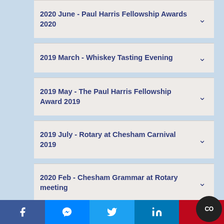2020 June - Paul Harris Fellowship Awards 2020
2019 March - Whiskey Tasting Evening
2019 May - The Paul Harris Fellowship Award 2019
2019 July - Rotary at Chesham Carnival 2019
2020 Feb - Chesham Grammar at Rotary meeting
Chesham Rotary Meetings
Facebook | Messenger | Twitter | LinkedIn | Pinterest